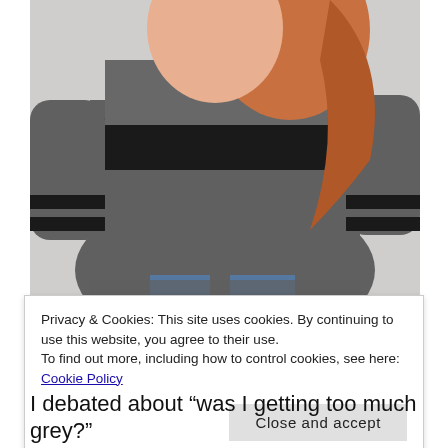[Figure (photo): A woman wearing a grey sweatshirt with a black chest stripe and black stripes on both sleeves, with long wavy hair, photographed from chest up.]
Privacy & Cookies: This site uses cookies. By continuing to use this website, you agree to their use.
To find out more, including how to control cookies, see here: Cookie Policy
Close and accept
I debated about "was I getting too much grey?"